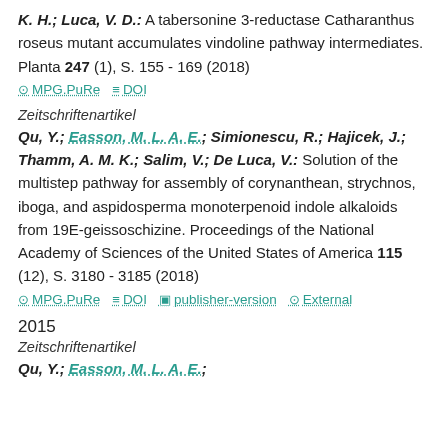K. H.; Luca, V. D.: A tabersonine 3-reductase Catharanthus roseus mutant accumulates vindoline pathway intermediates. Planta 247 (1), S. 155 - 169 (2018)
MPG.PuRe   DOI
Zeitschriftenartikel
Qu, Y.; Easson, M. L. A. E.; Simionescu, R.; Hajicek, J.; Thamm, A. M. K.; Salim, V.; De Luca, V.: Solution of the multistep pathway for assembly of corynanthean, strychnos, iboga, and aspidosperma monoterpenoid indole alkaloids from 19E-geissoschizine. Proceedings of the National Academy of Sciences of the United States of America 115 (12), S. 3180 - 3185 (2018)
MPG.PuRe   DOI   publisher-version   External
2015
Zeitschriftenartikel